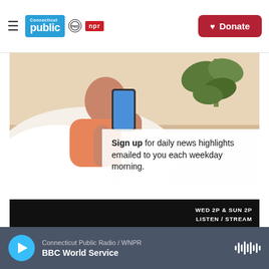Connecticut Public | PBS | NPR — Donate
[Figure (photo): Person lying in bed holding a smartphone, with a plant in the background. Promotional image for daily news highlights email signup.]
Sign up for daily news highlights emailed to you each weekday morning.
[Figure (photo): Promotional banner for a BBC radio show featuring 'ISRU' in large pink and white letters. Text reads: WED 2P & SUN 2P | LISTEN / STREAM | KHALILAH BROWN-DEAN]
Connecticut Public Radio / WNPR | BBC World Service